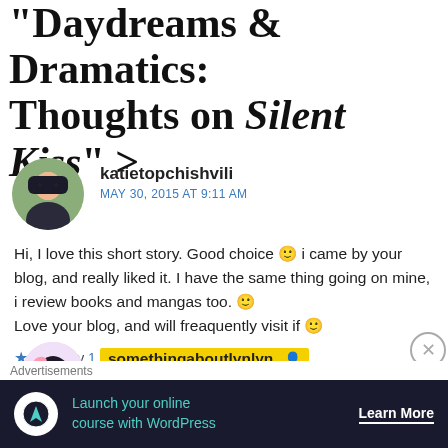“Daydreams & Dramatics: Thoughts on Silent Kiss” >
[Figure (photo): Circular avatar photo of katietopchishvili]
katietopchishvili
MAY 30, 2015 AT 9:11 AM
Hi, I love this short story. Good choice 🙂 i came by your blog, and really liked it. I have the same thing going on mine, i review books and mangas too. 🙂
Love your blog, and will freaquently visit if 🙂
★ Liked by 1 person ↩
[Figure (illustration): Circular avatar illustration of somethingaboutlynlyn]
somethingaboutlynlyn 👤
MAY 30, 2015 AT 10:27 AM
Advertisements
Launch your online course with WordPress  Learn More